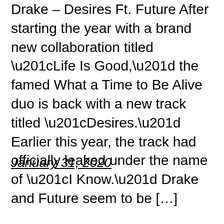Drake – Desires Ft. Future After starting the year with a brand new collaboration titled “Life Is Good,” the famed What a Time to Be Alive duo is back with a new track titled “Desires.” Earlier this year, the track had officially leaked under the name of “I Know.” Drake and Future seem to be […]
January 31, 2020